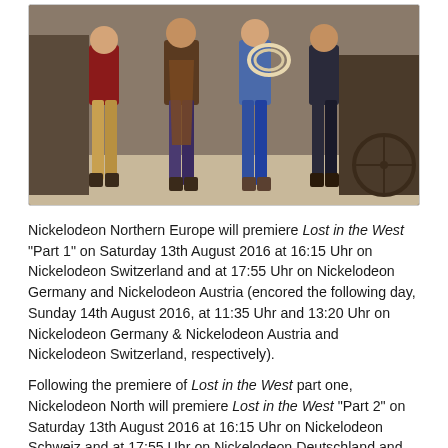[Figure (photo): Four people dressed in western/cowboy style clothing walking together outdoors on a dusty ground. One carries a lasso/rope. They appear to be on a western-themed set.]
Nickelodeon Northern Europe will premiere Lost in the West "Part 1" on Saturday 13th August 2016 at 16:15 Uhr on Nickelodeon Switzerland and at 17:55 Uhr on Nickelodeon Germany and Nickelodeon Austria (encored the following day, Sunday 14th August 2016, at 11:35 Uhr and 13:20 Uhr on Nickelodeon Germany & Nickelodeon Austria and Nickelodeon Switzerland, respectively).
Following the premiere of Lost in the West part one, Nickelodeon North will premiere Lost in the West "Part 2" on Saturday 13th August 2016 at 16:15 Uhr on Nickelodeon Schweiz and at 17:55 Uhr on Nickelodeon Deutschland and Nickelodeon Österreich. Although currently unconfirmed